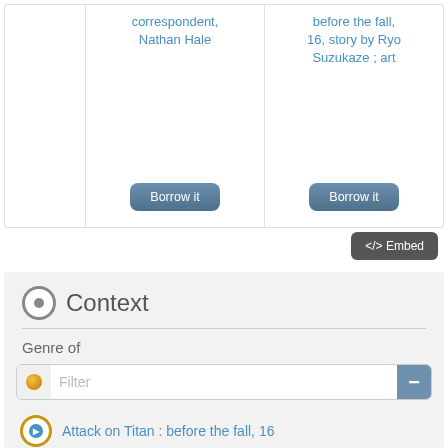correspondent, Nathan Hale
Borrow it
before the fall, 16, story by Ryo Suzukaze ; art
Borrow it
</> Embed
Context
Genre of
Filter
Attack on Titan : before the fall, 16
Attack on Titan : before the fall, 6
Attack on Titan, 29
Attack on Titan, 30